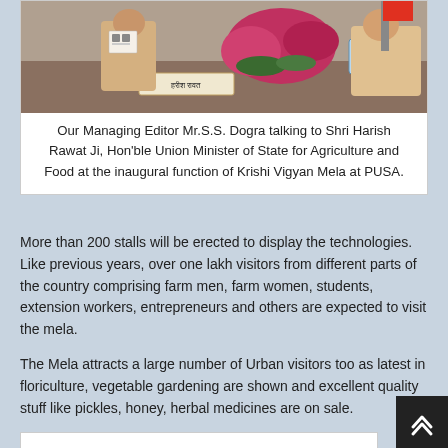[Figure (photo): Photo of Managing Editor Mr.S.S. Dogra talking to Shri Harish Rawat Ji at a table with flowers, a nameplate reading 'हरीश रावत' visible.]
Our Managing Editor Mr.S.S. Dogra talking to Shri Harish Rawat Ji, Hon'ble Union Minister of State for Agriculture and Food at the inaugural function of Krishi Vigyan Mela at PUSA.
More than 200 stalls will be erected to display the technologies. Like previous years, over one lakh visitors from different parts of the country comprising farm men, farm women, students, extension workers, entrepreneurs and others are expected to visit the mela.
The Mela attracts a large number of Urban visitors too as latest in floriculture, vegetable gardening are shown and excellent quality stuff like pickles, honey, herbal medicines are on sale.